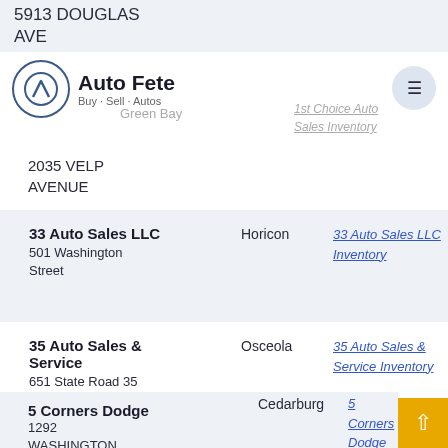5913 DOUGLAS AVE
[Figure (logo): Auto Fete logo with circle containing A symbol, tagline Buy - Sell - Autos]
Green Bay
1st Choice Auto Sales Inventory
2035 VELP AVENUE
| 33 Auto Sales LLC
501 Washington Street | Horicon | 33 Auto Sales LLC Inventory |
| 35 Auto Sales & Service
651 State Road 35 | Osceola | 35 Auto Sales & Service Inventory |
| 5 Corners Dodge
1292 WASHINGTON | Cedarburg | 5 Corners Dodge Inventory |